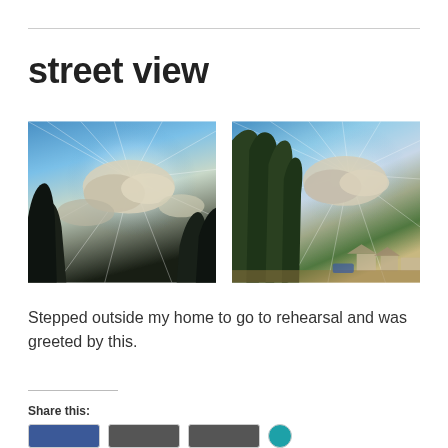street view
[Figure (photo): Two side-by-side outdoor photographs of a dramatic sky with sunbeams radiating from behind white clouds, with tree silhouettes in the foreground. Left photo shows mostly sky with dark tree tips at bottom. Right photo shows taller green trees on the left side with suburban houses visible at bottom right.]
Stepped outside my home to go to rehearsal and was greeted by this.
Share this: